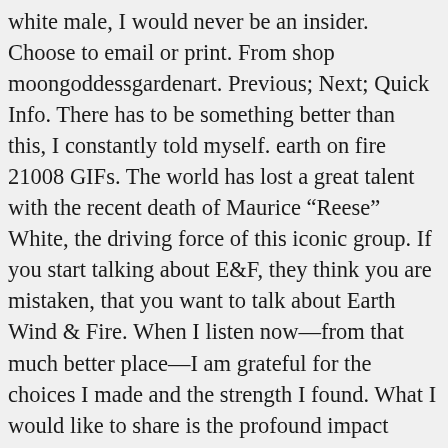white male, I would never be an insider. Choose to email or print. From shop moongoddessgardenart. Previous; Next; Quick Info. There has to be something better than this, I constantly told myself. earth on fire 21008 GIFs. The world has lost a great talent with the recent death of Maurice “Reese” White, the driving force of this iconic group. If you start talking about E&F, they think you are mistaken, that you want to talk about Earth Wind & Fire. When I listen now—from that much better place—I am grateful for the choices I made and the strength I found. What I would like to share is the profound impact Earth, Wind & Fire had on my sense of self. And we will live together This hand made crown is constructed with stones that have been known to balance your emotions and boost your mental alertness by drawing on the elements of earth and fire to focus its energy. Alma taught, “All things denote there is a God; yea, even the earth, and